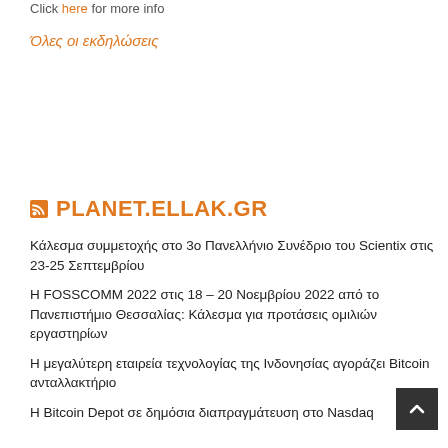Click here for more info
Όλες οι εκδηλώσεις
PLANET.ELLAK.GR
Κάλεσμα συμμετοχής στο 3ο Πανελλήνιο Συνέδριο του Scientix στις 23-25 Σεπτεμβρίου
Η FOSSCOMM 2022 στις 18 – 20 Νοεμβρίου 2022 από το Πανεπιστήμιο Θεσσαλίας: Κάλεσμα για προτάσεις ομιλιών εργαστηρίων
Η μεγαλύτερη εταιρεία τεχνολογίας της Ινδονησίας αγοράζει Bitcoin ανταλλακτήριο
Η Bitcoin Depot σε δημόσια διαπραγμάτευση στο Nasdaq